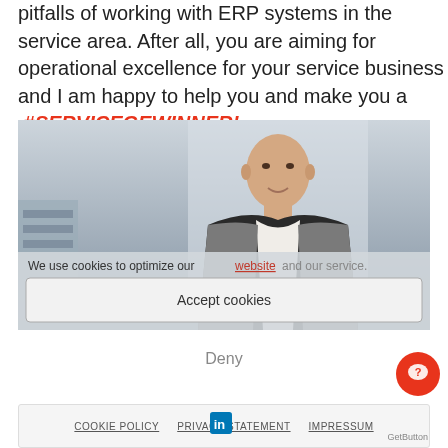pitfalls of working with ERP systems in the service area. After all, you are aiming for operational excellence for your service business and I am happy to help you and make you a #SERVICEGEWINNER!
[Figure (photo): Professional photo of a man in a suit and grey blazer, seated at a desk against a light background]
We use cookies to optimize our website and our service.
Accept cookies
Deny
COOKIE POLICY   PRIVACY STATEMENT   IMPRESSUM